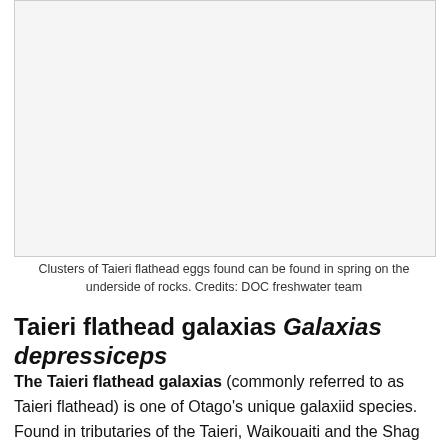[Figure (photo): Large photograph placeholder showing Taieri flathead eggs on rocks]
Clusters of Taieri flathead eggs found can be found in spring on the underside of rocks. Credits: DOC freshwater team
Taieri flathead galaxias Galaxias depressiceps
The Taieri flathead galaxias (commonly referred to as Taieri flathead) is one of Otago's unique galaxiid species. Found in tributaries of the Taieri, Waikouaiti and the Shag rivers. Classified as 'Nationally Vulnerable' they share the same threat status as our great spotted kiwi. Their remaining populations are typically found in